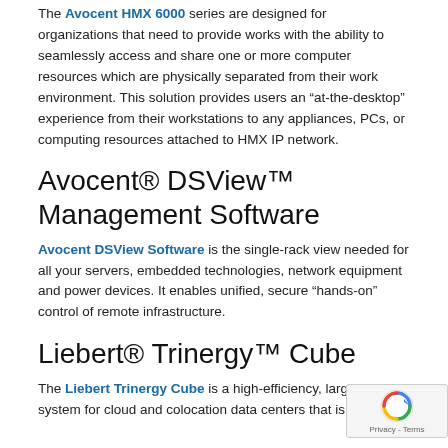The Avocent HMX 6000 series are designed for organizations that need to provide works with the ability to seamlessly access and share one or more computer resources which are physically separated from their work environment. This solution provides users an “at-the-desktop” experience from their workstations to any appliances, PCs, or computing resources attached to HMX IP network.
Avocent® DSView™ Management Software
Avocent DSView Software is the single-rack view needed for all your servers, embedded technologies, network equipment and power devices. It enables unified, secure “hands-on” control of remote infrastructure.
Liebert® Trinergy™ Cube
The Liebert Trinergy Cube is a high-efficiency, large UPS system for cloud and colocation data centers that is ready to